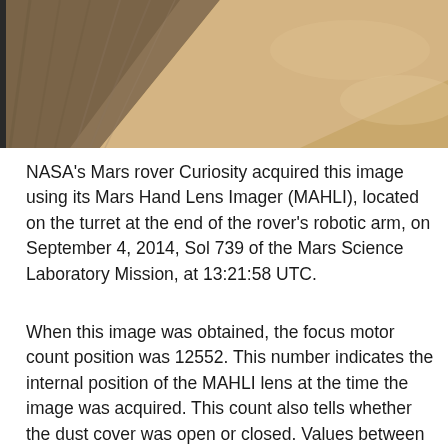[Figure (photo): Partial Mars surface photograph taken by NASA Curiosity rover's MAHLI camera, showing sandy/rocky Martian terrain in tan and brown tones. The image is cropped, showing only the bottom portion of the photograph.]
NASA's Mars rover Curiosity acquired this image using its Mars Hand Lens Imager (MAHLI), located on the turret at the end of the rover's robotic arm, on September 4, 2014, Sol 739 of the Mars Science Laboratory Mission, at 13:21:58 UTC.
When this image was obtained, the focus motor count position was 12552. This number indicates the internal position of the MAHLI lens at the time the image was acquired. This count also tells whether the dust cover was open or closed. Values between 0 and 6000 mean the dust cover was closed; values between 12500 and 16000 occur when the cover is open. For close-up images, the motor count can in some cases be used to estimate the distance between the MAHLI lens and target. For example, in-focus images obtained with the dust cover open for which the lens